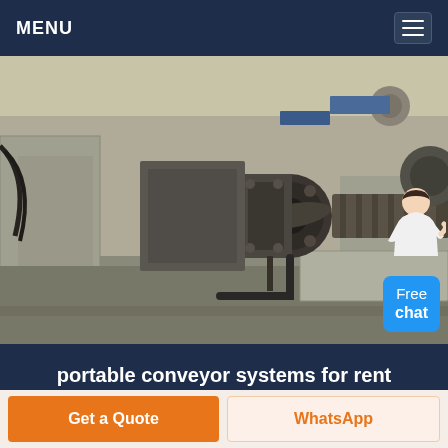MENU
[Figure (photo): Industrial conveyor system machinery — large metal drum/roller mechanism mounted on heavy steel frame in a factory/warehouse setting]
portable conveyor systems for rent in baltimore
Get a Quote
WhatsApp